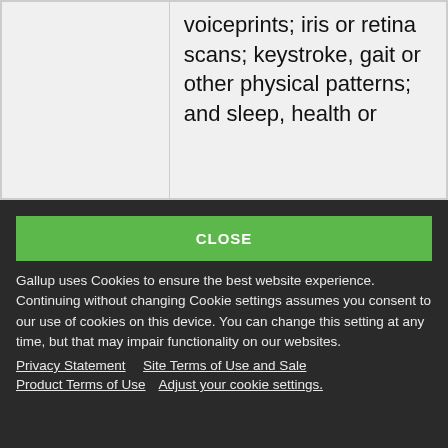|  | voiceprints; iris or retina scans; keystroke, gait or other physical patterns; and sleep, health or |
CLOSE
Gallup uses Cookies to ensure the best website experience. Continuing without changing Cookie settings assumes you consent to our use of cookies on this device. You can change this setting at any time, but that may impair functionality on our websites.
Privacy Statement   Site Terms of Use and Sale
Product Terms of Use   Adjust your cookie settings.